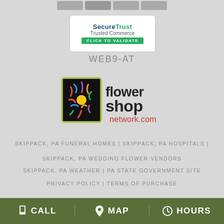[Figure (logo): Payment card icons at top: Visa, Mastercard, Discover, American Express]
[Figure (logo): SecureTrust Trusted Commerce Click to Validate badge]
WEB9-AT
[Figure (logo): Flower Shop Network .com logo]
SKIPPACK, PA FUNERAL HOMES | SKIPPACK, PA HOSPITALS |
SKIPPACK, PA WEDDING FLOWER VENDORS
SKIPPACK, PA WEATHER | PA STATE GOVERNMENT SITE
PRIVACY POLICY | TERMS OF PURCHASE
CALL   MAP   HOURS